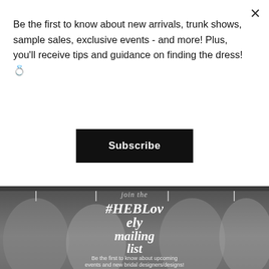Be the first to know about new arrivals, trunk shows, sample sales, exclusive events - and more! Plus, you'll receive tips and guidance on finding the dress! 💍
Subscribe
[Figure (photo): Black and white photo of wedding dresses hanging on a rack with text overlay reading 'join the #HEBLovely mailing list' and description text about being the first to know about upcoming events and new bridal designers/designs, plus exclusive bridal tips & guidance straight from...]